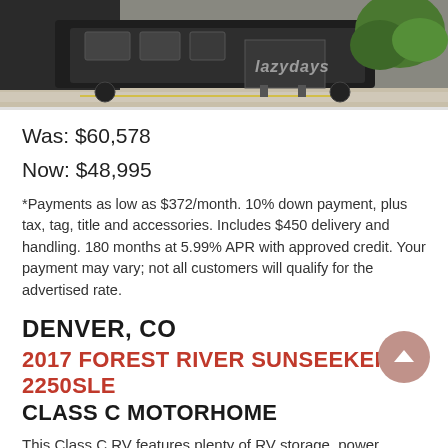[Figure (photo): Partial photo of an RV/motorhome parked outdoors with foliage visible in the background and a lazy days watermark]
Was: $60,578
Now: $48,995
*Payments as low as $372/month. 10% down payment, plus tax, tag, title and accessories. Includes $450 delivery and handling. 180 months at 5.99% APR with approved credit. Your payment may vary; not all customers will qualify for the advertised rate.
DENVER, CO
2017 FOREST RIVER SUNSEEKER 2250SLE CLASS C MOTORHOME
This Class C RV features plenty of RV storage, power